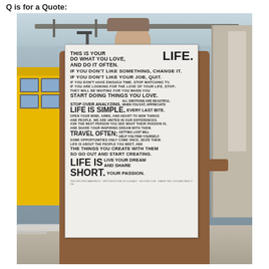Q is for a Quote:
[Figure (photo): A person standing on a city street holding up a large white poster with a motivational quote. Behind them is a yellow school bus, a bridge, and city buildings. The poster reads: THIS IS YOUR LIFE. DO WHAT YOU LOVE, AND DO IT OFTEN. IF YOU DON'T LIKE SOMETHING, CHANGE IT. IF YOU DON'T LIKE YOUR JOB, QUIT. IF YOU DON'T HAVE ENOUGH TIME, STOP WATCHING TV. IF YOU ARE LOOKING FOR THE LOVE OF YOUR LIFE, STOP; THEY WILL BE WAITING FOR YOU WHEN YOU START DOING THINGS YOU LOVE. STOP OVER ANALYZING, ALL EMOTIONS ARE BEAUTIFUL. WHEN YOU EAT, APPRECIATE LIFE IS SIMPLE. EVERY LAST BITE. OPEN YOUR MIND, ARMS, AND HEART TO NEW THINGS AND PEOPLE. WE ARE UNITED IN OUR DIFFERENCES. ASK THE NEXT PERSON YOU SEE WHAT THEIR PASSION IS, AND SHARE YOUR INSPIRING DREAM WITH THEM. TRAVEL OFTEN; GETTING LOST WILL HELP YOU FIND YOURSELF. SOME OPPORTUNITIES ONLY COME ONCE, SEIZE THEM. LIFE IS ABOUT THE PEOPLE YOU MEET, AND THE THINGS YOU CREATE WITH THEM SO GO OUT AND START CREATING. LIFE IS SHORT. LIVE YOUR DREAM AND SHARE YOUR PASSION.]